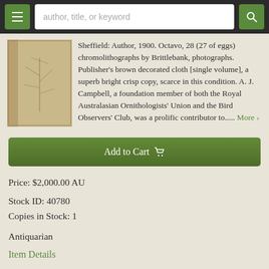author, title, or keyword
[Figure (photo): Book cover photo showing a brown cloth bound volume]
Sheffield: Author, 1900. Octavo, 28 (27 of eggs) chromolithographs by Brittlebank, photographs. Publisher's brown decorated cloth [single volume], a superb bright crisp copy, scarce in this condition. A. J. Campbell, a foundation member of both the Royal Australasian Ornithologists' Union and the Bird Observers' Club, was a prolific contributor to..... More ›
Add to Cart 🛒
Price: $2,000.00 AU
Stock ID: 40780
Copies in Stock: 1
Antiquarian
Item Details